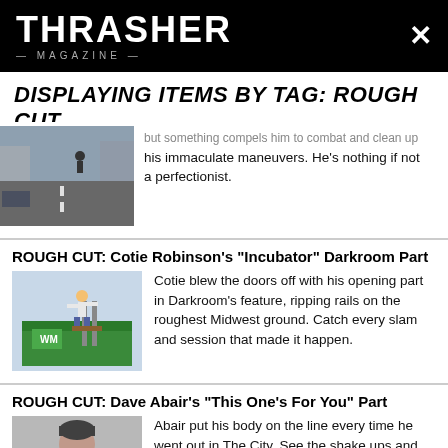THRASHER MAGAZINE
DISPLAYING ITEMS BY TAG: ROUGH CUT
but something compels him to combat and clean up his immaculate maneuvers. He's nothing if not a perfectionist.
ROUGH CUT: Cotie Robinson's "Incubator" Darkroom Part
Cotie blew the doors off with his opening part in Darkroom's feature, ripping rails on the roughest Midwest ground. Catch every slam and session that made it happen.
ROUGH CUT: Dave Abair's "This One's For You" Part
Abair put his body on the line every time he went out in The City. See the shake ups and glorious makes from his final contribution 'til in the next...